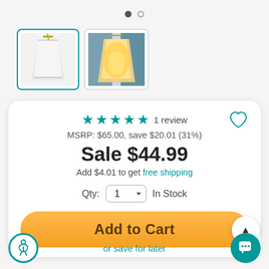[Figure (screenshot): Two thumbnail images of a lamp shade product. First thumbnail is selected (teal border) showing a white lamp shade. Second thumbnail shows the lamp shade lit up with warm amber light.]
★★★★★ 1 review
MSRP: $65.00, save $20.01 (31%)
Sale $44.99
Add $4.01 to get free shipping
Qty: 1  In Stock
Add to Cart
or save for later